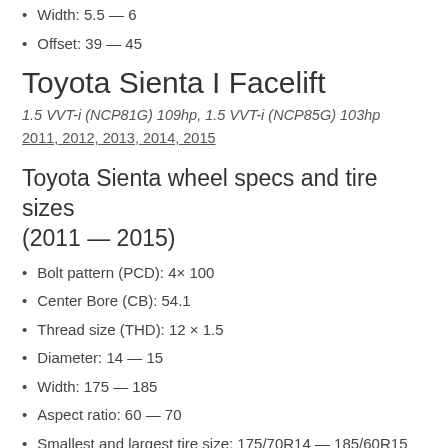Width: 5.5 — 6
Offset: 39 — 45
Toyota Sienta I Facelift
1.5 VVT-i (NCP81G) 109hp, 1.5 VVT-i (NCP85G) 103hp
2011, 2012, 2013, 2014, 2015
Toyota Sienta wheel specs and tire sizes (2011 — 2015)
Bolt pattern (PCD): 4× 100
Center Bore (CB): 54.1
Thread size (THD): 12 × 1.5
Diameter: 14 — 15
Width: 175 — 185
Aspect ratio: 60 — 70
Smallest and largest tire size: 175/70R14 — 185/60R15